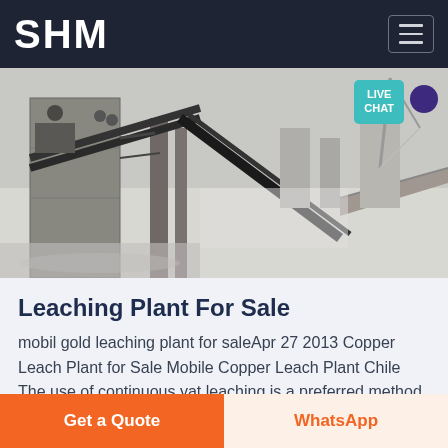SHM
[Figure (photo): Aerial/overhead view of a mining or industrial leaching plant with conveyor belts, large machinery, and industrial structures.]
Leaching Plant For Sale
mobil gold leaching plant for saleApr 27 2013 Copper Leach Plant for Sale Mobile Copper Leach Plant Chile The use of continuous vat leaching is a preferred method of leaching